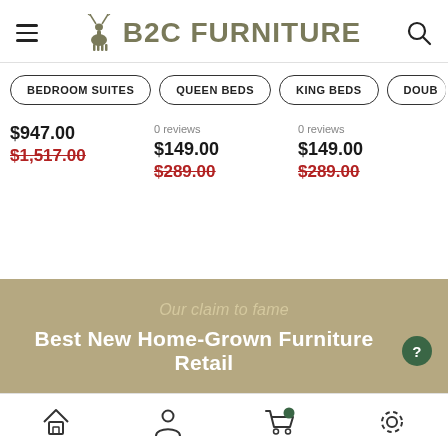[Figure (logo): B2C Furniture logo with deer/stag icon]
BEDROOM SUITES | QUEEN BEDS | KING BEDS | DOUB...
$947.00
$1,517.00 (crossed out)
0 reviews
$149.00
$289.00 (crossed out)
0 reviews
$149.00
$289.00 (crossed out)
Our claim to fame
Best New Home-Grown Furniture Retail